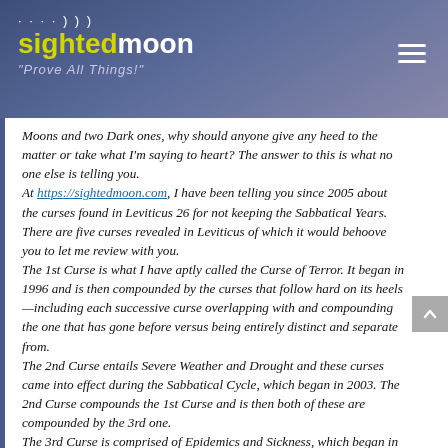sightedmoon "Prove All Things!"
Moons and two Dark ones, why should anyone give any heed to the matter or take what I'm saying to heart? The answer to this is what no one else is telling you.
At https://sightedmoon.com, I have been telling you since 2005 about the curses found in Leviticus 26 for not keeping the Sabbatical Years. There are five curses revealed in Leviticus of which it would behoove you to let me review with you.
The 1st Curse is what I have aptly called the Curse of Terror. It began in 1996 and is then compounded by the curses that follow hard on its heels—including each successive curse overlapping with and compounding the one that has gone before versus being entirely distinct and separate from.
The 2nd Curse entails Severe Weather and Drought and these curses came into effect during the Sabbatical Cycle, which began in 2003. The 2nd Curse compounds the 1st Curse and is then both of these are compounded by the 3rd one.
The 3rd Curse is comprised of Epidemics and Sickness, which began in 2010.
The 4th Curse is described to us in the following Levitical